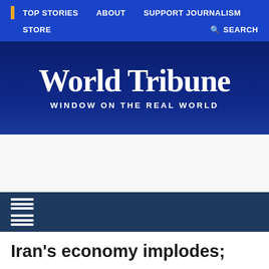TOP STORIES   ABOUT   SUPPORT JOURNALISM   STORE   SEARCH
[Figure (logo): World Tribune newspaper logo with blackletter font and tagline WINDOW ON THE REAL WORLD on dark navy blue background]
[Figure (other): Advertisement area / blank white space]
Navigation hamburger menu icon (two sets of three horizontal lines)
Iran's economy implodes;